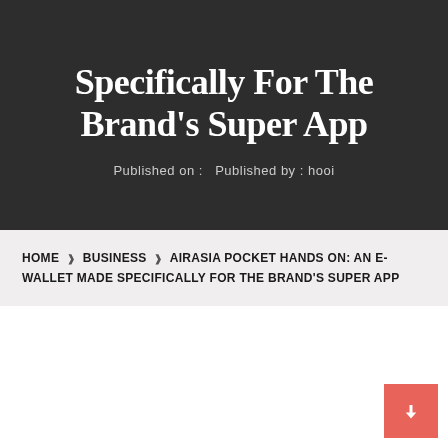Specifically For The Brand's Super App
Published on :   Published by : hooi
HOME ❯ BUSINESS ❯ AIRASIA POCKET HANDS ON: AN E-WALLET MADE SPECIFICALLY FOR THE BRAND'S SUPER APP